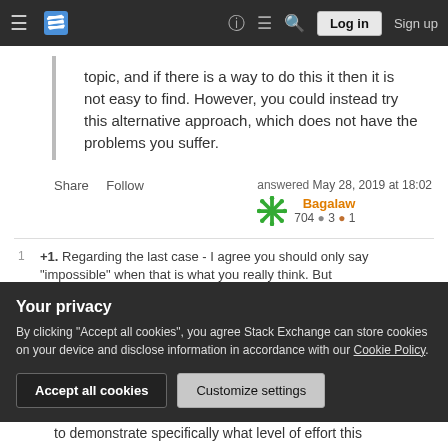Stack Exchange navigation bar with hamburger, logo, help, chat, search, Log in, Sign up
topic, and if there is a way to do this it then it is not easy to find. However, you could instead try this alternative approach, which does not have the problems you suffer.
Share   Follow   answered May 28, 2019 at 18:02   Bagalaw   704 ●3 ●1
1   +1. Regarding the last case - I agree you should only say "impossible" when that is what you really think. But
Your privacy
By clicking "Accept all cookies", you agree Stack Exchange can store cookies on your device and disclose information in accordance with our Cookie Policy.
Accept all cookies   Customize settings
to demonstrate specifically what level of effort this